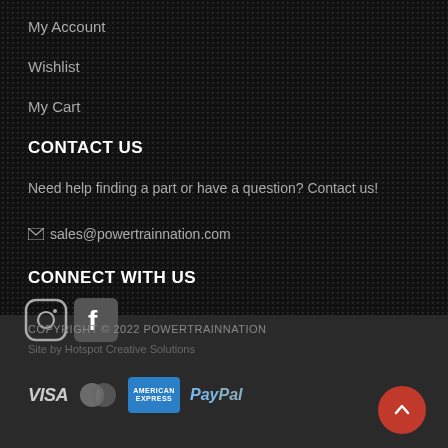My Account
Wishlist
My Cart
CONTACT US
Need help finding a part or have a question? Contact us!
sales@powertrainnation.com
CONNECT WITH US
[Figure (logo): Instagram and Facebook social media icons]
COPYRIGHT © 2022 POWERTRAINNATION
Site by Hotspot Creative Solutions
[Figure (logo): Payment method logos: Visa, Mastercard, American Express, PayPal]